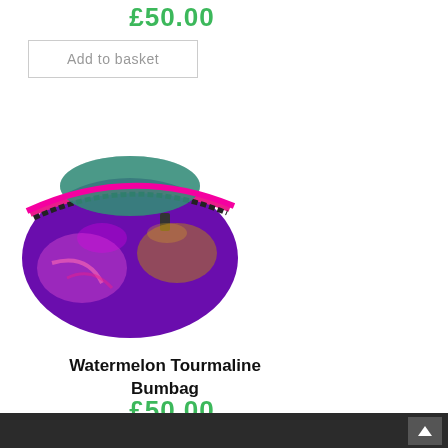£50.00
Add to basket
[Figure (photo): A sequin bumbag/fanny pack with purple, pink, and gold iridescent sequins and a black zipper with pink trim, photographed on a white background.]
Watermelon Tourmaline Bumbag
£50.00
Add to basket